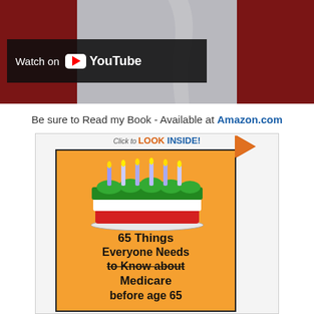[Figure (screenshot): YouTube video thumbnail with dark background, red side panels, gray figure silhouette, and 'Watch on YouTube' badge overlay]
Be sure to Read my Book - Available at Amazon.com
[Figure (photo): Amazon book listing showing '65 Things Everyone Needs to Know about Medicare before age 65' with 'Click to LOOK INSIDE!' badge and book cover featuring a birthday cake illustration]